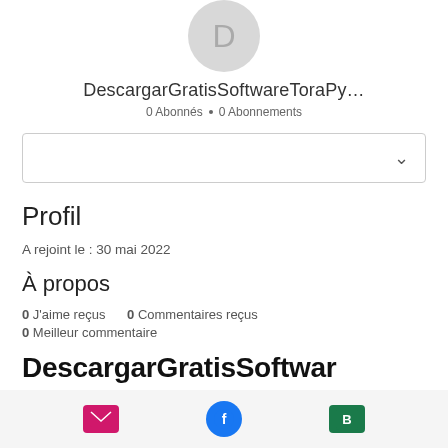[Figure (illustration): User avatar circle with letter D on grey background]
DescargarGratisSoftwareToraPy...
0 Abonnés • 0 Abonnements
[Figure (screenshot): Dropdown/select box with chevron]
Profil
A rejoint le : 30 mai 2022
À propos
0 J'aime reçus    0 Commentaires reçus
0 Meilleur commentaire
DescargarGratisSoftwar
[Figure (illustration): Bottom bar with email (pink), Facebook (blue), and B (green) icons]